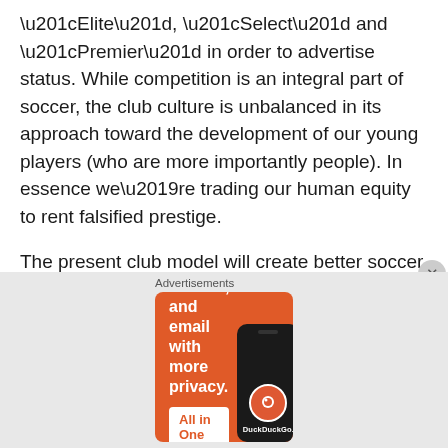“Elite”, “Select” and “Premier” in order to advertise status. While competition is an integral part of soccer, the club culture is unbalanced in its approach toward the development of our young players (who are more importantly people). In essence we’re trading our human equity to rent falsified prestige.
The present club model will create better soccer players over time. The competitive cauldron that we have cast most of our players into will incrementally produce better soccer in the US. While that may be an objective for the USSF and other agencies invested in player improvement, is better soccer without regard for other...
Advertisements
[Figure (infographic): DuckDuckGo advertisement banner with orange background. Text reads: Search, browse, and email with more privacy. All in One Free App. Shows a smartphone with DuckDuckGo logo and brand name.]